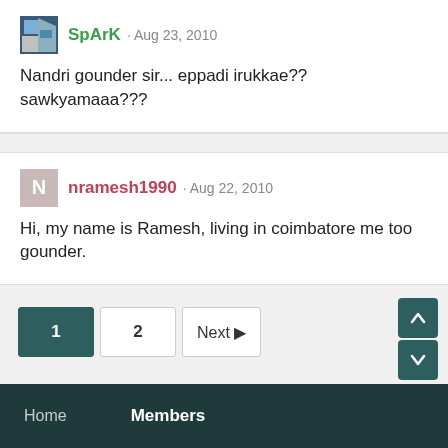SpArK · Aug 23, 2010
Nandri gounder sir... eppadi irukkae?? sawkyamaaa???
nramesh1990 · Aug 22, 2010
Hi, my name is Ramesh, living in coimbatore me too gounder.
1 2 Next ▶
Home Members